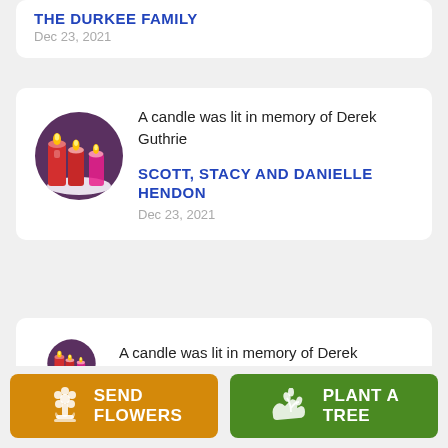THE DURKEE FAMILY
Dec 23, 2021
[Figure (illustration): Candle icon: circular purple background with red and pink candles and golden flames]
A candle was lit in memory of Derek Guthrie
SCOTT, STACY AND DANIELLE HENDON
Dec 23, 2021
[Figure (illustration): Candle icon: circular purple background with red and pink candles and golden flames (partial)]
A candle was lit in memory of Derek
SEND FLOWERS
PLANT A TREE